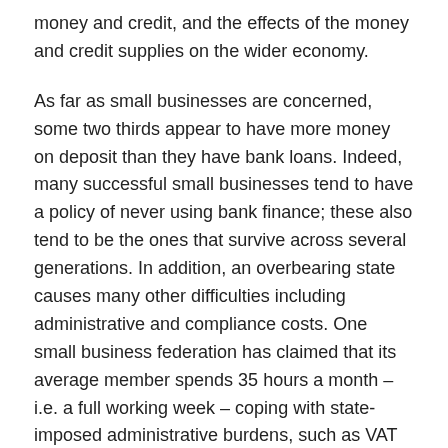money and credit, and the effects of the money and credit supplies on the wider economy.
As far as small businesses are concerned, some two thirds appear to have more money on deposit than they have bank loans. Indeed, many successful small businesses tend to have a policy of never using bank finance; these also tend to be the ones that survive across several generations. In addition, an overbearing state causes many other difficulties including administrative and compliance costs. One small business federation has claimed that its average member spends 35 hours a month – i.e. a full working week – coping with state-imposed administrative burdens, such as VAT returns etc.
In addition, the main business killer in a recession is fixed costs that the proprietor can do nothing to reduce, without closing down entirely. The main example here is business